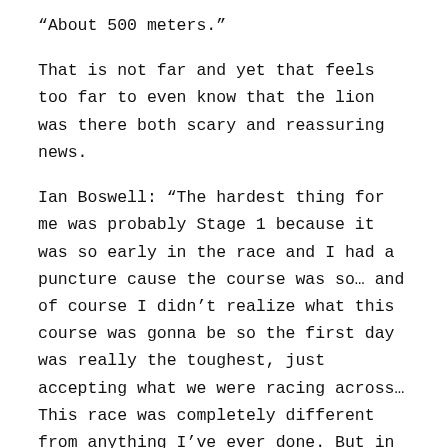“About 500 meters.”
That is not far and yet that feels too far to even know that the lion was there both scary and reassuring news.
Ian Boswell: “The hardest thing for me was probably Stage 1 because it was so early in the race and I had a puncture cause the course was so… and of course I didn’t realize what this course was gonna be so the first day was really the toughest, just accepting what we were racing across… This race was completely different from anything I’ve ever done. But in hindsight, a gravel bike is able to ride all these surfaces, it’s just a